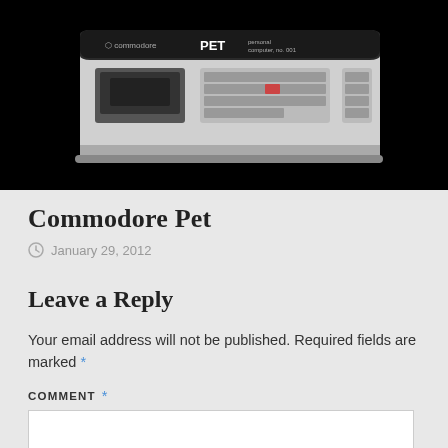[Figure (photo): Photograph of a Commodore PET personal computer on a black background, showing the keyboard and cassette drive.]
Commodore Pet
January 29, 2012
Leave a Reply
Your email address will not be published. Required fields are marked *
COMMENT *